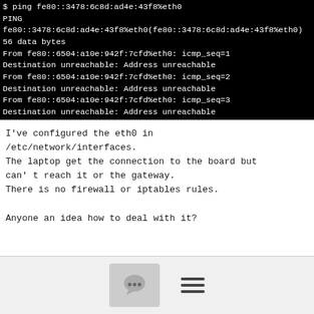$ ping fe80::3478:6c8d:ad4e:43f8%eth0
PING
fe80::3478:6c8d:ad4e:43f8%eth0(fe80::3478:6c8d:ad4e:43f8%eth0) 56 data bytes
From fe80::6504:a10e:942f:7cfd%eth0: icmp_seq=1
Destination unreachable: Address unreachable
From fe80::6504:a10e:942f:7cfd%eth0: icmp_seq=2
Destination unreachable: Address unreachable
From fe80::6504:a10e:942f:7cfd%eth0: icmp_seq=3
Destination unreachable: Address unreachable
I've configured the eth0 in /etc/network/interfaces.
The laptop get the connection to the board but can' t reach it or the gateway.
There is no firewall or iptables rules.

Anyone an idea how to deal with it?
[Figure (screenshot): Footer bar with comment icon and hamburger menu icon]